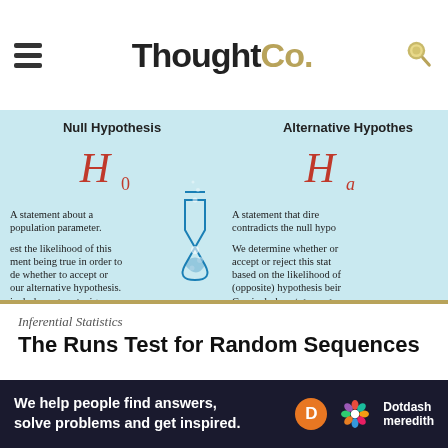ThoughtCo.
[Figure (infographic): Infographic comparing Null Hypothesis (H0) and Alternative Hypothesis (Ha). H0: A statement about a population parameter; test the likelihood of this statement being true in order to decide whether to accept or reject our alternative hypothesis; can include =, ≤, or ≥ sign. Ha: A statement that directly contradicts the null hypothesis; We determine whether or accept or reject this statement based on the likelihood of the (opposite) hypothesis being true; Can include a ≠, >, or < sign. Center shows a laboratory flask illustration.]
Inferential Statistics
The Runs Test for Random Sequences
[Figure (photo): Photo of 3D black and white number/letter tiles on a surface]
We help people find answers, solve problems and get inspired.